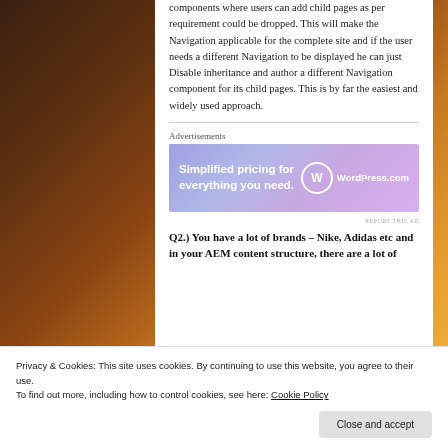components where users can add child pages as per requirement could be dropped. This will make the Navigation applicable for the complete site and if the user needs a different Navigation to be displayed he can just Disable inheritance and author a different Navigation component for its child pages. This is by far the easiest and widely used approach.
[Figure (other): WordPress.com advertisement banner: 'Simplified pricing for everything you need.' with WordPress.com logo on gradient purple-blue background]
REPORT THIS AD
Q2.) You have a lot of brands – Nike, Adidas etc and in your AEM content structure, there are a lot of
Privacy & Cookies: This site uses cookies. By continuing to use this website, you agree to their use.
To find out more, including how to control cookies, see here: Cookie Policy